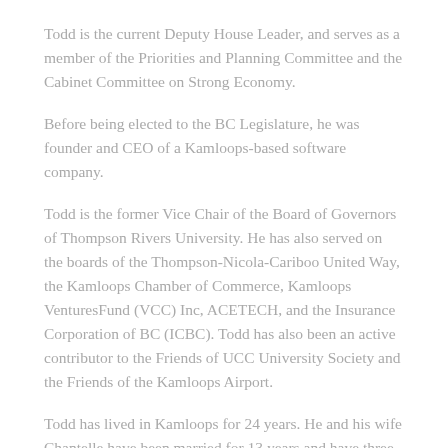Todd is the current Deputy House Leader, and serves as a member of the Priorities and Planning Committee and the Cabinet Committee on Strong Economy.
Before being elected to the BC Legislature, he was founder and CEO of a Kamloops-based software company.
Todd is the former Vice Chair of the Board of Governors of Thompson Rivers University. He has also served on the boards of the Thompson-Nicola-Cariboo United Way, the Kamloops Chamber of Commerce, Kamloops VenturesFund (VCC) Inc, ACETECH, and the Insurance Corporation of BC (ICBC). Todd has also been an active contributor to the Friends of UCC University Society and the Friends of the Kamloops Airport.
Todd has lived in Kamloops for 24 years. He and his wife Chantelle have been married for 13 years and have three daughters.